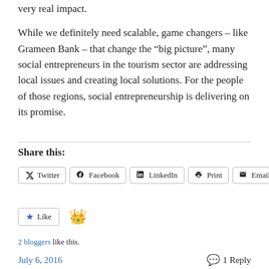very real impact.
While we definitely need scalable, game changers – like Grameen Bank – that change the “big picture”, many social entrepreneurs in the tourism sector are addressing local issues and creating local solutions. For the people of those regions, social entrepreneurship is delivering on its promise.
Share this:
Twitter Facebook LinkedIn Print Email
Like
2 bloggers like this.
July 6, 2016    1 Reply